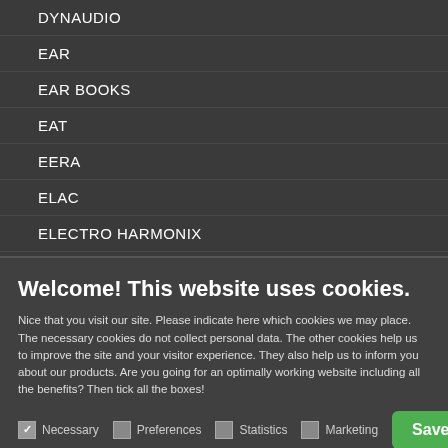DYNAUDIO
EAR
EAR BOOKS
EAT
EERA
ELAC
ELECTRO HARMONIX
Welcome! This website uses cookies.
Nice that you visit our site. Please indicate here which cookies we may place. The necessary cookies do not collect personal data. The other cookies help us to improve the site and your visitor experience. They also help us to inform you about our products. Are you going for an optimally working website including all the benefits? Then tick all the boxes!
Necessary  Preferences  Statistics  Marketing  Save